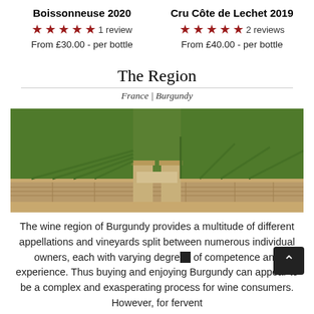Boissonneuse 2020
★★★★★ 1 review
From £30.00 - per bottle
Cru Côte de Lechet 2019
★★★★★ 2 reviews
From £40.00 - per bottle
The Region
France | Burgundy
[Figure (photo): Photograph of a Burgundy vineyard with rows of green vines and a stone wall with gate pillars in the foreground]
The wine region of Burgundy provides a multitude of different appellations and vineyards split between numerous individual owners, each with varying degrees of competence and experience. Thus buying and enjoying Burgundy can appear to be a complex and exasperating process for wine consumers. However, for fervent